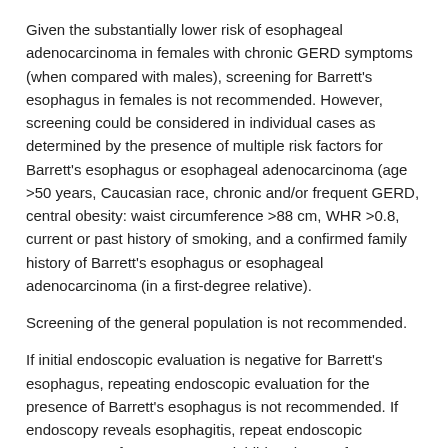Given the substantially lower risk of esophageal adenocarcinoma in females with chronic GERD symptoms (when compared with males), screening for Barrett's esophagus in females is not recommended. However, screening could be considered in individual cases as determined by the presence of multiple risk factors for Barrett's esophagus or esophageal adenocarcinoma (age >50 years, Caucasian race, chronic and/or frequent GERD, central obesity: waist circumference >88 cm, WHR >0.8, current or past history of smoking, and a confirmed family history of Barrett's esophagus or esophageal adenocarcinoma (in a first-degree relative).
Screening of the general population is not recommended.
If initial endoscopic evaluation is negative for Barrett's esophagus, repeating endoscopic evaluation for the presence of Barrett's esophagus is not recommended. If endoscopy reveals esophagitis, repeat endoscopic assessment after proton pump inhibitor therapy for 8–12 weeks is recommended to ensure healing of esophagitis and exclude the presence of underlying Barrett's esophagus.
What is the surveillance of patients with Barrett's Esophagus?